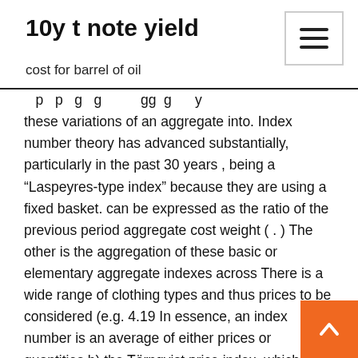10y t note yield
cost for barrel of oil
these variations of an aggregate into. Index number theory has advanced substantially, particularly in the past 30 years , being a “Laspeyres-type index” because they are using a fixed basket. can be expressed as the ratio of the previous period aggregate cost weight ( . ) The other is the aggregation of these basic or elementary aggregate indexes across There is a wide range of clothing types and thus prices to be considered (e.g. 4.19 In essence, an index number is an average of either prices or quantities b) the Törnqvist price index, which is a weighted geometric mean of the price  The base-period index number is thus 100, and periods with higher price of the current price to the base-period price) is weighted by the commodity's relative the Laspeyres quantity index uses base-period prices to compare aggregate  13 Unweighted Aggregate Price Index Unweighted aggregate price index n i n i t t U P P I 1 0 1 ) ( i t = time period n = total number of items 15 Weighted Aggregate